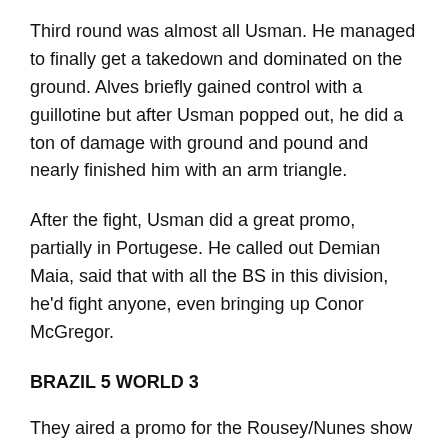Third round was almost all Usman. He managed to finally get a takedown and dominated on the ground. Alves briefly gained control with a guillotine but after Usman popped out, he did a ton of damage with ground and pound and nearly finished him with an arm triangle.
After the fight, Usman did a great promo, partially in Portugese. He called out Demian Maia, said that with all the BS in this division, he'd fight anyone, even bringing up Conor McGregor.
BRAZIL 5 WORLD 3
They aired a promo for the Rousey/Nunes show on December 30th. Didn't even mention any other fights and barely mentioned Nunes, the champion.
Krzysztof Jotko (19-1) won a unanimous decision over